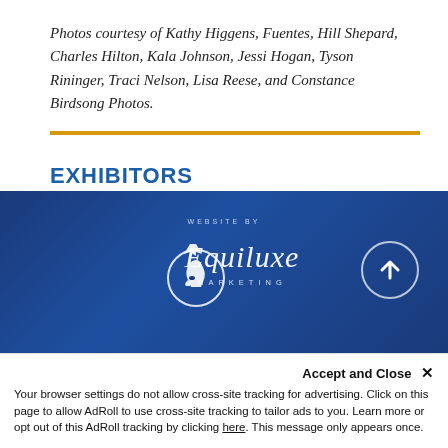Photos courtesy of Kathy Higgens, Fuentes, Hill Shepard, Charles Hilton, Kala Johnson, Jessi Hogan, Tyson Rininger, Traci Nelson, Lisa Reese, and Constance Birdsong Photos.
EXHIBITORS
Exhibitor Login
Exhibitor Account
[Figure (logo): Equiluxe Marketing logo in white on dark blue background with website by text and horse head in circle, plus an up-arrow circle button on the right]
Accept and Close ✕
Your browser settings do not allow cross-site tracking for advertising. Click on this page to allow AdRoll to use cross-site tracking to tailor ads to you. Learn more or opt out of this AdRoll tracking by clicking here. This message only appears once.